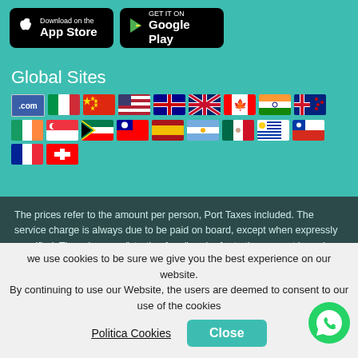[Figure (logo): Download on the App Store button (black rounded rectangle with Apple logo)]
[Figure (logo): Get it on Google Play button (black rounded rectangle with Play logo)]
Global Sites
[Figure (infographic): Row of country flag icons representing global sites: .com, Italy, China, USA, Australia, UK, Canada, India, New Zealand, Ireland, Singapore, South Africa, Taiwan, Spain, Argentina, Mexico, Uruguay, Chile, France, Switzerland]
The prices refer to the amount per person, Port Taxes included. The service charge is always due to be paid on board, except when expressly specified. The prices are "starting from" and refer to the amount based on double occupancy. They may depend on the availability of the cabins. The prices may change at any time depending on the ship, the date of departure, the category and the
we use cookies to be sure we give you the best experience on our website. By continuing to use our Website, the users are deemed to consent to our use of the cookies
Politica Cookies
Close